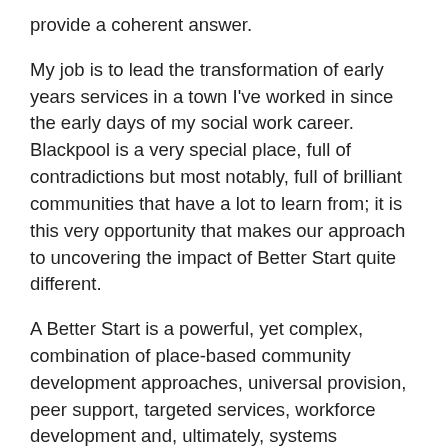provide a coherent answer.
My job is to lead the transformation of early years services in a town I've worked in since the early days of my social work career. Blackpool is a very special place, full of contradictions but most notably, full of brilliant communities that have a lot to learn from; it is this very opportunity that makes our approach to uncovering the impact of Better Start quite different.
A Better Start is a powerful, yet complex, combination of place-based community development approaches, universal provision, peer support, targeted services, workforce development and, ultimately, systems transformation. Therefore, if I could provide a